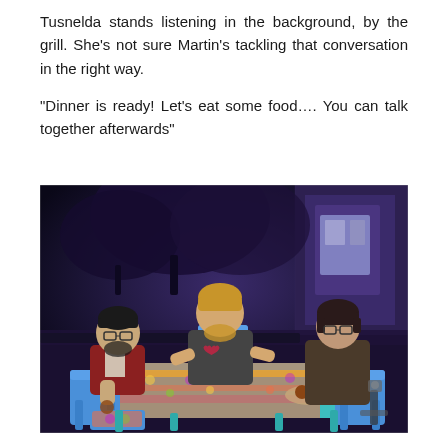Tusnelda stands listening in the background, by the grill. She's not sure Martin's tackling that conversation in the right way.
“Dinner is ready! Let’s eat some food…. You can talk together afterwards”
[Figure (photo): Screenshot from The Sims 4 video game showing three animated characters sitting around an outdoor dining table at night. A man with dark hair and beard sits on the left, a blond bearded man in the center gestures with his hands, and a woman with short dark hair sits on the right. A lit candle centerpiece and food are on the colorful table. Blue chairs, trees, and a brick building are visible in the background.]